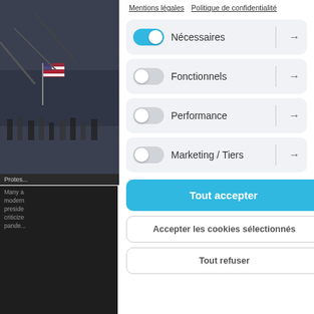Mentions légales  Politique de confidentialité
Nécessaires
Fonctionnels
Performance
Marketing / Tiers
Tout accepter
Accepter les cookies sélectionnés
Tout refuser
Protes...
Many a modern preside criticize pande...